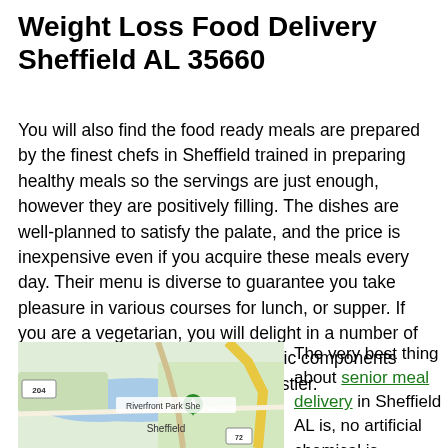Weight Loss Food Delivery Sheffield AL 35660
You will also find the food ready meals are prepared by the finest chefs in Sheffield trained in preparing healthy meals so the servings are just enough, however they are positively filling. The dishes are well-planned to satisfy the palate, and the price is inexpensive even if you acquire these meals every day. Their menu is diverse to guarantee you take pleasure in various courses for lunch, or supper. If you are a vegetarian, you will delight in a number of attractive options from fresh organic components that are much more secure and tastier.
[Figure (map): Google Maps screenshot showing Riverfront Park Sheffield area with route 72 and route 204 markers, river, and green location pin labeled Riverfront Park Shef]
The very best thing about senior meal delivery in Sheffield AL is, no artificial chemical is